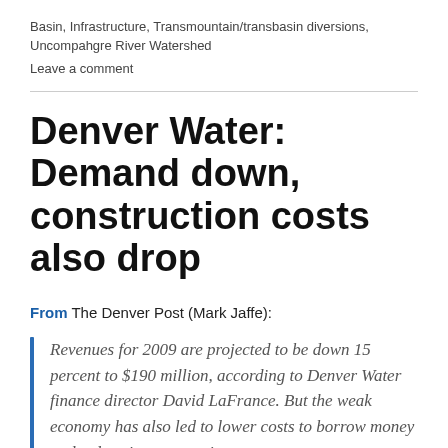Basin, Infrastructure, Transmountain/transbasin diversions, Uncompahgre River Watershed
Leave a comment
Denver Water: Demand down, construction costs also drop
From The Denver Post (Mark Jaffe):
Revenues for 2009 are projected to be down 15 percent to $190 million, according to Denver Water finance director David LaFrance. But the weak economy has also led to lower costs to borrow money and a drop in construction